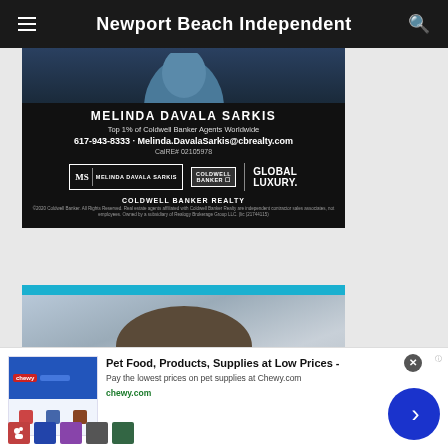Newport Beach Independent
[Figure (illustration): Coldwell Banker Realty advertisement featuring Melinda Davala Sarkis, Top 1% of Coldwell Banker Agents Worldwide. Phone: 617-943-8333, Email: Melinda.DavalaSarkis@cbrealty.com, CalRE# 02105978. Logos: MS Melinda Davala Sarkis, Coldwell Banker, Global Luxury. Coldwell Banker Realty disclaimer text.]
[Figure (photo): Close-up photo of a man with black thick-framed glasses against a light background, with a cyan/blue header bar above.]
[Figure (illustration): Pet Food, Products, Supplies at Low Prices - advertisement overlay. Pay the lowest prices on pet supplies at Chewy.com. URL: chewy.com. Features product thumbnails and a blue arrow button.]